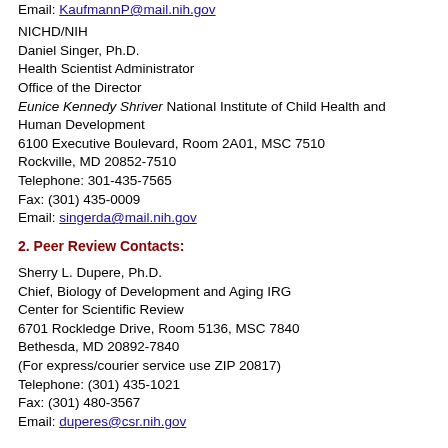Email: KaufmannP@mail.nih.gov
NICHD/NIH
Daniel Singer, Ph.D.
Health Scientist Administrator
Office of the Director
Eunice Kennedy Shriver National Institute of Child Health and Human Development
6100 Executive Boulevard, Room 2A01, MSC 7510
Rockville, MD 20852-7510
Telephone: 301-435-7565
Fax: (301) 435-0009
Email: singerda@mail.nih.gov
2. Peer Review Contacts:
Sherry L. Dupere, Ph.D.
Chief, Biology of Development and Aging IRG
Center for Scientific Review
6701 Rockledge Drive, Room 5136, MSC 7840
Bethesda, MD 20892-7840
(For express/courier service use ZIP 20817)
Telephone: (301) 435-1021
Fax: (301) 480-3567
Email: duperes@csr.nih.gov